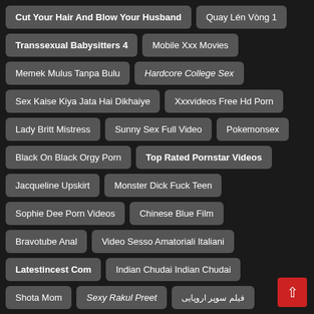Cut Your Hair And Blow Your Husband
Quay Lén Vòng 1
Transsexual Babysitters 4
Mobile Xxx Movies
Memek Mulus Tanpa Bulu
Hardcore College Sex
Sex Kaise Kiya Jata Hai Dikhaiye
Xxxvideos Free Hd Porn
Lady Britt Mistress
Sunny Sex Full Video
Pokemonsex
Black On Black Orgy Porn
Top Rated Pornstar Videos
Jacqueline Upskirt
Monster Dick Fuck Teen
Sophie Dee Porn Videos
Chinese Blue Film
Bravotube Anal
Video Sesso Amatoriali Italiani
Latestincest Com
Indian Chudai Indian Chudai
Shota Mom
Sexy Rakul Preet
فیلم سوپر اروپایی